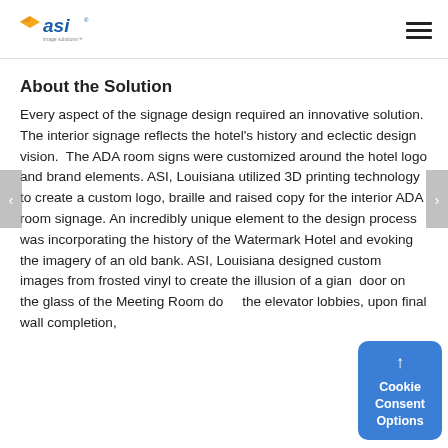ASI logo and navigation menu
About the Solution
Every aspect of the signage design required an innovative solution. The interior signage reflects the hotel's history and eclectic design vision.  The ADA room signs were customized around the hotel logo and brand elements. ASI, Louisiana utilized 3D printing technology to create a custom logo, braille and raised copy for the interior ADA room signage. An incredibly unique element to the design process was incorporating the history of the Watermark Hotel and evoking the imagery of an old bank. ASI, Louisiana designed custom images from frosted vinyl to create the illusion of a giant door on the glass of the Meeting Room door, the elevator lobbies, upon final wall completion.